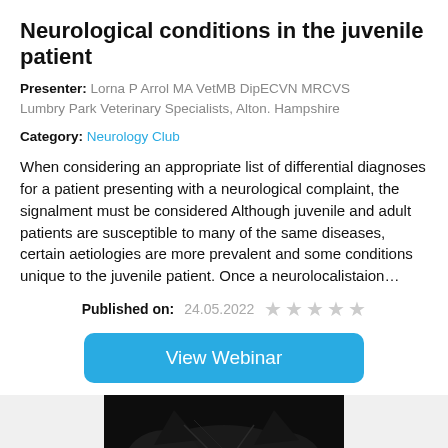Neurological conditions in the juvenile patient
Presenter: Lorna P Arrol MA VetMB DipECVN MRCVS
Lumbry Park Veterinary Specialists, Alton. Hampshire
Category: Neurology Club
When considering an appropriate list of differential diagnoses for a patient presenting with a neurological complaint, the signalment must be considered Although juvenile and adult patients are susceptible to many of the same diseases, certain aetiologies are more prevalent and some conditions unique to the juvenile patient. Once a neurolocalistaion…
Published on: 24.05.2022 ★★★★★
View Webinar
[Figure (photo): Partial photo of a black cat's head/face, cropped at the bottom of the page]